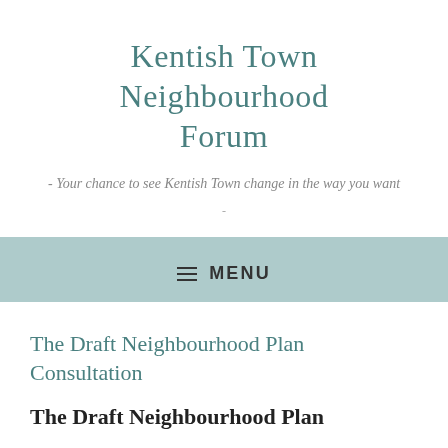Kentish Town Neighbourhood Forum
- Your chance to see Kentish Town change in the way you want
-
MENU
The Draft Neighbourhood Plan Consultation
The Draft Neighbourhood Plan